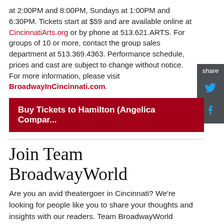at 2:00PM and 8:00PM, Sundays at 1:00PM and 6:30PM. Tickets start at $59 and are available online at CincinnatiArts.org or by phone at 513.621.ARTS. For groups of 10 or more, contact the group sales department at 513.369.4363. Performance schedule, prices and cast are subject to change without notice. For more information, please visit BroadwayInCincinnati.com.
Buy Tickets to Hamilton (Angelica Company)
Join Team BroadwayWorld
Are you an avid theatergoer in Cincinnati? We're looking for people like you to share your thoughts and insights with our readers. Team BroadwayWorld members get access to shows to review, conduct interviews with artists, and the opportunity to meet and network with fellow theatre lovers